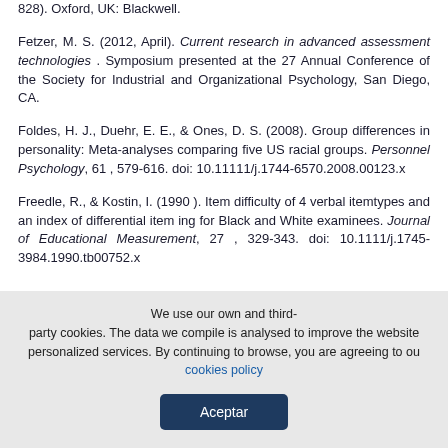828). Oxford, UK: Blackwell.
Fetzer, M. S. (2012, April). Current research in advanced assessment technologies . Symposium presented at the 27 Annual Conference of the Society for Industrial and Organizational Psychology, San Diego, CA.
Foldes, H. J., Duehr, E. E., & Ones, D. S. (2008). Group differences in personality: Meta-analyses comparing five US racial groups. Personnel Psychology, 61 , 579-616. doi: 10.11111/j.1744-6570.2008.00123.x
Freedle, R., & Kostin, I. (1990 ). Item difficulty of 4 verbal itemtypes and an index of differential item ing for Black and White examinees. Journal of Educational Measurement, 27 , 329-343. doi: 10.1111/j.1745-3984.1990.tb00752.x
We use our own and third-party cookies. The data we compile is analysed to improve the website personalized services. By continuing to browse, you are agreeing to our cookies policy
Aceptar